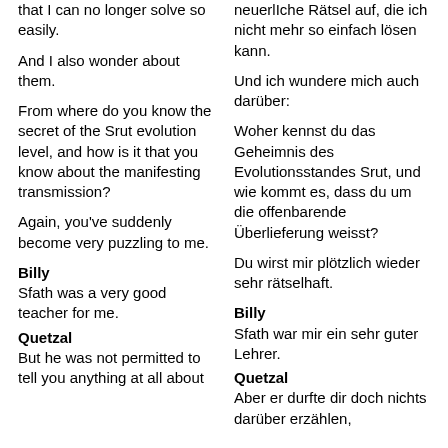that I can no longer solve so easily.
neuerlIche Rätsel auf, die ich nicht mehr so einfach lösen kann.
And I also wonder about them.
Und ich wundere mich auch darüber:
From where do you know the secret of the Srut evolution level, and how is it that you know about the manifesting transmission?
Woher kennst du das Geheimnis des Evolutionsstandes Srut, und wie kommt es, dass du um die offenbarende Überlieferung weisst?
Again, you've suddenly become very puzzling to me.
Du wirst mir plötzlich wieder sehr rätselhaft.
Billy
Billy
Sfath was a very good teacher for me.
Sfath war mir ein sehr guter Lehrer.
Quetzal
Quetzal
But he was not permitted to tell you anything at all about
Aber er durfte dir doch nichts darüber erzählen,